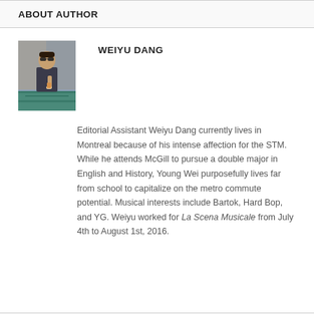ABOUT AUTHOR
[Figure (photo): Photo of Weiyu Dang, a young man wearing sunglasses and a dark shirt, standing outdoors in an urban setting with teal/blue ground markings.]
WEIYU DANG
Editorial Assistant Weiyu Dang currently lives in Montreal because of his intense affection for the STM. While he attends McGill to pursue a double major in English and History, Young Wei purposefully lives far from school to capitalize on the metro commute potential. Musical interests include Bartok, Hard Bop, and YG. Weiyu worked for La Scena Musicale from July 4th to August 1st, 2016.